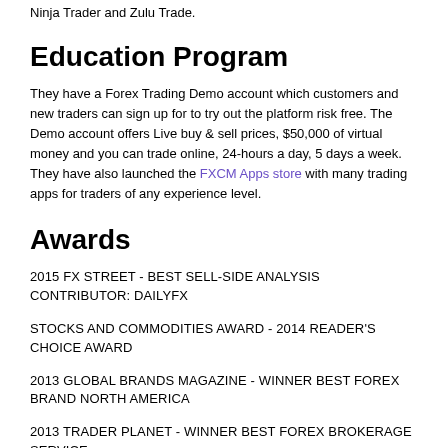Ninja Trader and Zulu Trade.
Education Program
They have a Forex Trading Demo account which customers and new traders can sign up for to try out the platform risk free. The Demo account offers Live buy & sell prices, $50,000 of virtual money and you can trade online, 24-hours a day, 5 days a week. They have also launched the FXCM Apps store with many trading apps for traders of any experience level.
Awards
2015 FX STREET - BEST SELL-SIDE ANALYSIS CONTRIBUTOR: DAILYFX
STOCKS AND COMMODITIES AWARD - 2014 READER'S CHOICE AWARD
2013 GLOBAL BRANDS MAGAZINE - WINNER BEST FOREX BRAND NORTH AMERICA
2013 TRADER PLANET - WINNER BEST FOREX BROKERAGE SERVICE
2013 FOREX MAGNATES | LONDON SUMMIT AWARDS